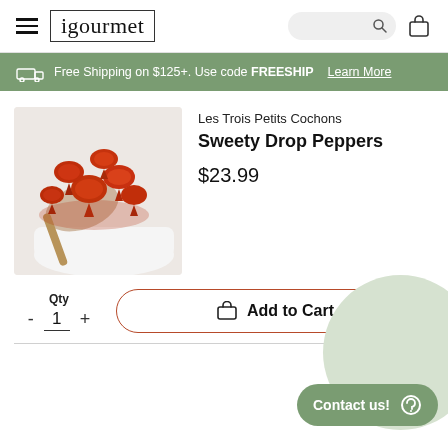igourmet
Free Shipping on $125+. Use code FREESHIP  Learn More
[Figure (photo): Close-up photo of red sweety drop peppers on a spoon in a white dish]
Les Trois Petits Cochons
Sweety Drop Peppers
$23.99
Qty
- 1 +
Add to Cart
Contact us!